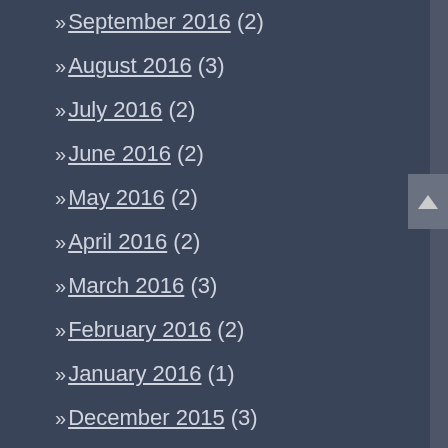>> September 2016 (2)
>> August 2016 (3)
>> July 2016 (2)
>> June 2016 (2)
>> May 2016 (2)
>> April 2016 (2)
>> March 2016 (3)
>> February 2016 (2)
>> January 2016 (1)
>> December 2015 (3)
>> November 2015 (2)
>> October 2015 (2)
>> September 2015 (2)
>> August 2015 (2)
>> July 2015 (2)